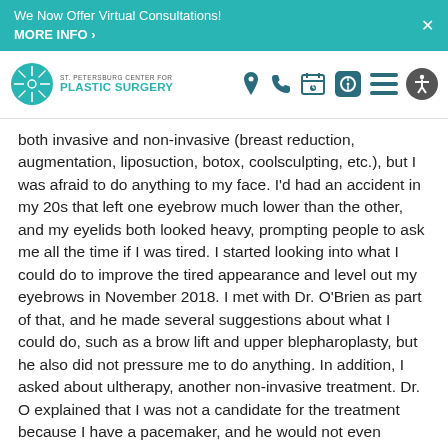We Now Offer Virtual Consultations! MORE INFO >
[Figure (logo): St. Petersburg Center for Plastic Surgery logo with teal circular icon and text]
both invasive and non-invasive (breast reduction, augmentation, liposuction, botox, coolsculpting, etc.), but I was afraid to do anything to my face. I'd had an accident in my 20s that left one eyebrow much lower than the other, and my eyelids both looked heavy, prompting people to ask me all the time if I was tired. I started looking into what I could do to improve the tired appearance and level out my eyebrows in November 2018. I met with Dr. O'Brien as part of that, and he made several suggestions about what I could do, such as a brow lift and upper blepharoplasty, but he also did not pressure me to do anything. In addition, I asked about ultherapy, another non-invasive treatment. Dr. O explained that I was not a candidate for the treatment because I have a pacemaker, and he would not even consider it (which I respect and appreciate).